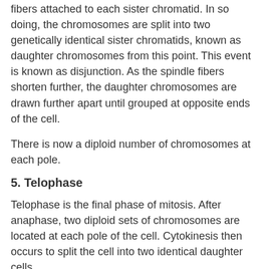fibers attached to each sister chromatid. In so doing, the chromosomes are split into two genetically identical sister chromatids, known as daughter chromosomes from this point. This event is known as disjunction. As the spindle fibers shorten further, the daughter chromosomes are drawn further apart until grouped at opposite ends of the cell.
There is now a diploid number of chromosomes at each pole.
5. Telophase
Telophase is the final phase of mitosis. After anaphase, two diploid sets of chromosomes are located at each pole of the cell. Cytokinesis then occurs to split the cell into two identical daughter cells.
[Figure (illustration): Partial illustration of a cell during telophase, showing a rounded yellow-green cell with chromosomes visible inside, cropped at the bottom of the page.]